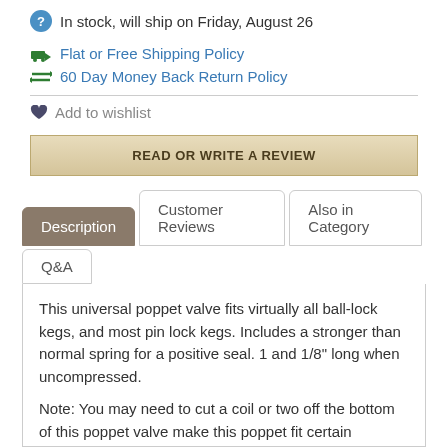In stock, will ship on Friday, August 26
Flat or Free Shipping Policy
60 Day Money Back Return Policy
Add to wishlist
READ OR WRITE A REVIEW
Description
Customer Reviews
Also in Category
Q&A
This universal poppet valve fits virtually all ball-lock kegs, and most pin lock kegs. Includes a stronger than normal spring for a positive seal. 1 and 1/8" long when uncompressed.

Note: You may need to cut a coil or two off the bottom of this poppet valve make this poppet fit certain applications, if you find it is too hard to press down the center poppet when installing a ball or pin lock fitting. This is easy to do with wire cutters.